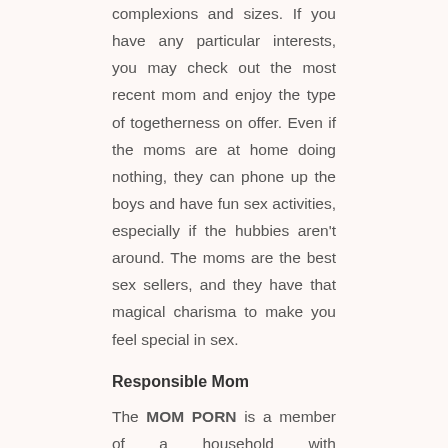complexions and sizes. If you have any particular interests, you may check out the most recent mom and enjoy the type of togetherness on offer. Even if the moms are at home doing nothing, they can phone up the boys and have fun sex activities, especially if the hubbies aren't around. The moms are the best sex sellers, and they have that magical charisma to make you feel special in sex.
Responsible Mom
The MOM PORN is a member of a household with responsibilities. She is the sex salesperson and quietly attempts sex